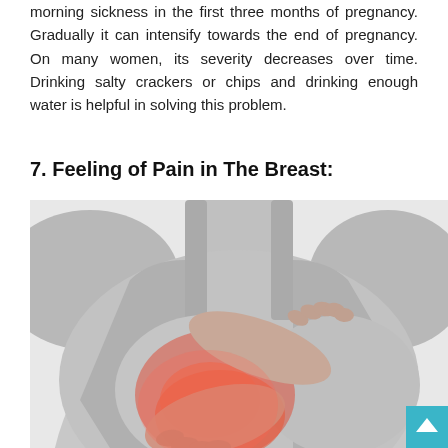morning sickness in the first three months of pregnancy. Gradually it can intensify towards the end of pregnancy. On many women, its severity decreases over time. Drinking salty crackers or chips and drinking enough water is helpful in solving this problem.
7. Feeling of Pain in The Breast:
[Figure (photo): Black and white photo of a woman in a tank top holding her chest/breast area with both hands, with a red/pink highlight indicating pain in the breast area.]